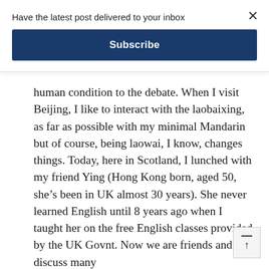Have the latest post delivered to your inbox
Subscribe
human condition to the debate. When I visit Beijing, I like to interact with the laobaixing, as far as possible with my minimal Mandarin but of course, being laowai, I know, changes things. Today, here in Scotland, I lunched with my friend Ying (Hong Kong born, aged 50, she’s been in UK almost 30 years). She never learned English until 8 years ago when I taught her on the free English classes provided by the UK Govnt. Now we are friends and discuss many